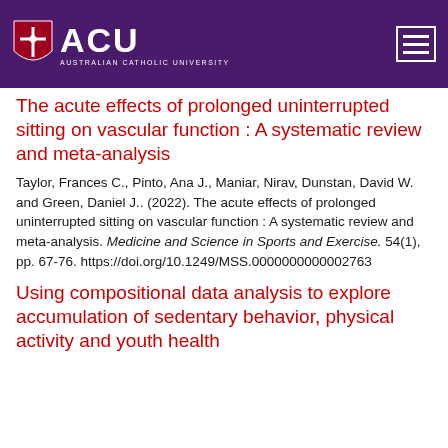[Figure (logo): ACU (Australian Catholic University) logo with shield icon on dark purple header bar with hamburger menu icon on the right]
The acute effects of prolonged uninterrupted sitting on vascular function : A systematic review and meta-analysis
Taylor, Frances C., Pinto, Ana J., Maniar, Nirav, Dunstan, David W. and Green, Daniel J.. (2022). The acute effects of prolonged uninterrupted sitting on vascular function : A systematic review and meta-analysis. Medicine and Science in Sports and Exercise. 54(1), pp. 67-76. https://doi.org/10.1249/MSS.0000000000002763
Using compositional data analysis to explore accumulation of sedentary behavior, physical activity and youth health